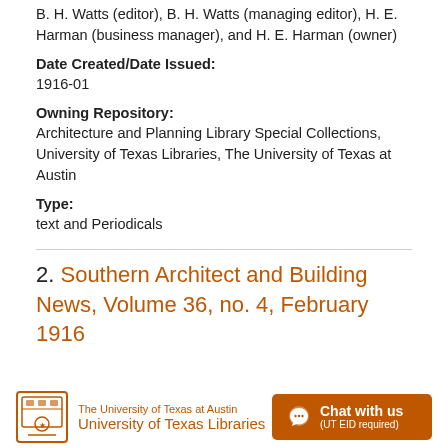B. H. Watts (editor), B. H. Watts (managing editor), H. E. Harman (business manager), and H. E. Harman (owner)
Date Created/Date Issued:
1916-01
Owning Repository:
Architecture and Planning Library Special Collections, University of Texas Libraries, The University of Texas at Austin
Type:
text and Periodicals
2. Southern Architect and Building News, Volume 36, no. 4, February 1916
The University of Texas at Austin University of Texas Libraries | Chat with us (UT EID required)